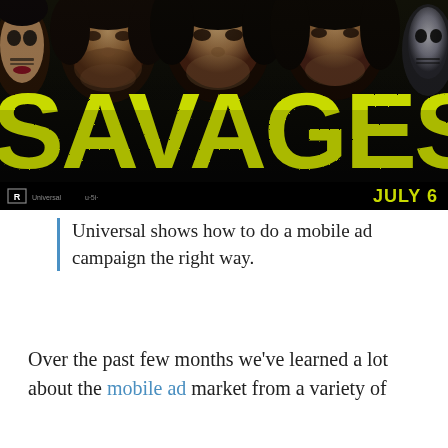[Figure (photo): Movie poster for 'Savages' showing faces of cast members at top, large yellow-green SAVAGES text in the middle, R rating and studio logos at lower left, JULY 6 release date at lower right, all on black background.]
Universal shows how to do a mobile ad campaign the right way.
Over the past few months we've learned a lot about the mobile ad market from a variety of